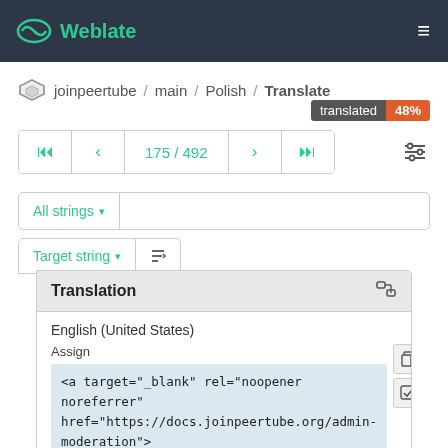Weblate
joinpeertube / main / Polish / Translate
translated 48%
175 / 492
All strings
Target string
Translation
English (United States)
Assign
<a target="_blank" rel="noopener noreferrer" href="https://docs.joinpeertube.org/admin-moderation">
moderator/admin</a> roles